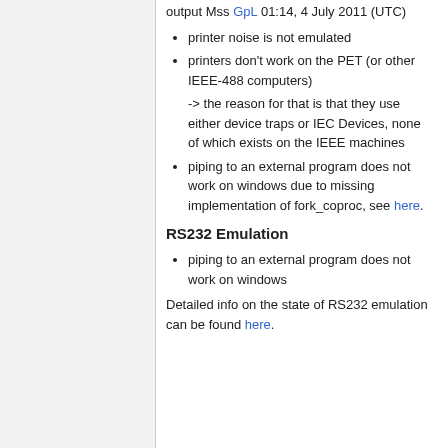output Mss GpL 01:14, 4 July 2011 (UTC)
printer noise is not emulated
printers don't work on the PET (or other IEEE-488 computers)
-> the reason for that is that they use either device traps or IEC Devices, none of which exists on the IEEE machines
piping to an external program does not work on windows due to missing implementation of fork_coproc, see here.
RS232 Emulation
piping to an external program does not work on windows
Detailed info on the state of RS232 emulation can be found here.